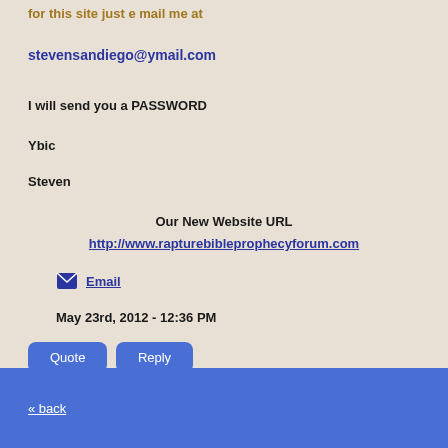for this site just e mail me at
stevensandiego@ymail.com
I will send you a PASSWORD
Ybic
Steven
Our New Website URL
http://www.rapturebibleprophecyforum.com
Email
May 23rd, 2012 - 12:36 PM
Quote
Reply
« back